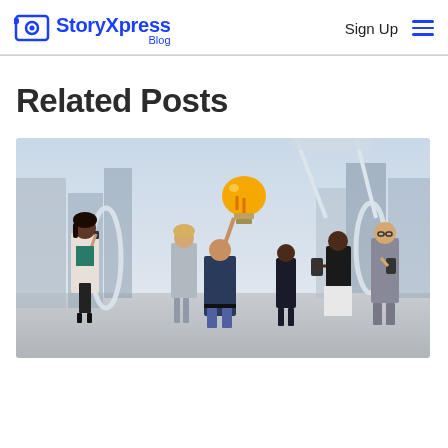StoryXpress Blog — Sign Up
Related Posts
[Figure (photo): Business professionals standing outdoors in an urban setting; a man in the center holds up a glowing lightbulb illustration above his head; people on phones and reading around him; modern city architecture in the background.]